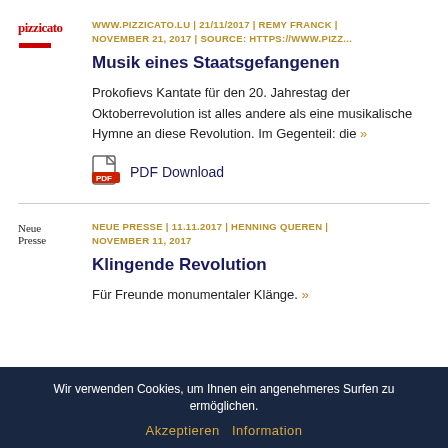WWW.PIZZICATO.LU | 21/11/2017 | REMY FRANCK | NOVEMBER 21, 2017 | SOURCE: HTTPS://WWW.PIZZ...
Musik eines Staatsgefangenen
Prokofievs Kantate für den 20. Jahrestag der Oktoberrevolution ist alles andere als eine musikalische Hymne an diese Revolution. Im Gegenteil: die »
[Figure (other): PDF download icon with link text 'PDF Download']
NEUE PRESSE | 11.11.2017 | HENNING QUEREN | NOVEMBER 11, 2017
Klingende Revolution
Für Freunde monumentaler Klänge. »
Wir verwenden Cookies, um Ihnen ein angenehmeres Surfen zu ermöglichen. Akzeptieren Information